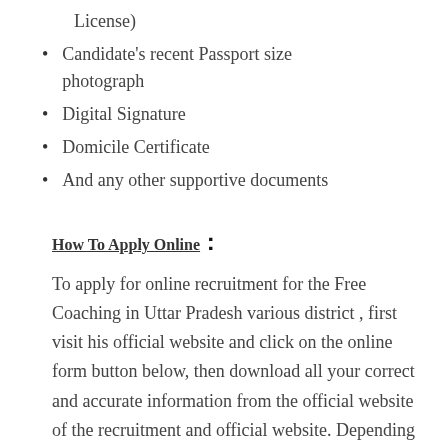License)
Candidate's recent Passport size photograph
Digital Signature
Domicile Certificate
And any other supportive documents
How To Apply Online :
To apply for online recruitment for the Free Coaching in Uttar Pradesh various district , first visit his official website and click on the online form button below, then download all your correct and accurate information from the official website of the recruitment and official website. Depending on the official information